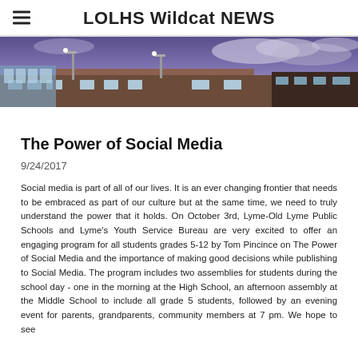LOLHS Wildcat NEWS
[Figure (photo): Exterior photo of a school building (brick facade) with street lights and a dramatic purple/blue sky with clouds.]
The Power of Social Media
9/24/2017
Social media is part of all of our lives. It is an ever changing frontier that needs to be embraced as part of our culture but at the same time, we need to truly understand the power that it holds. On October 3rd, Lyme-Old Lyme Public Schools and Lyme's Youth Service Bureau are very excited to offer an engaging program for all students grades 5-12 by Tom Pincince on The Power of Social Media and the importance of making good decisions while publishing to Social Media. The program includes two assemblies for students during the school day - one in the morning at the High School, an afternoon assembly at the Middle School to include all grade 5 students, followed by an evening event for parents, grandparents, community members at 7 pm. We hope to see